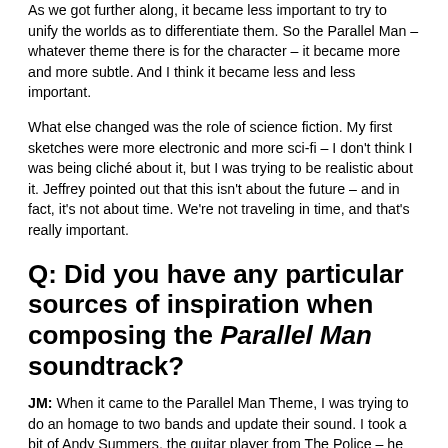As we got further along, it became less important to try to unify the worlds as to differentiate them. So the Parallel Man – whatever theme there is for the character – it became more and more subtle. And I think it became less and less important.
What else changed was the role of science fiction. My first sketches were more electronic and more sci-fi – I don't think I was being cliché about it, but I was trying to be realistic about it. Jeffrey pointed out that this isn't about the future – and in fact, it's not about time. We're not traveling in time, and that's really important.
Q: Did you have any particular sources of inspiration when composing the Parallel Man soundtrack?
JM: When it came to the Parallel Man Theme, I was trying to do an homage to two bands and update their sound. I took a bit of Andy Summers, the guitar player from The Police – he had a very signature approach to his guitar. Then there was another band popular in the '80s called The Fixx, which I looked at a lot. If people know the music of those two bands, there were some specific songs that influenced the main title track. But we added our own funky beat and updated that sound to bring it